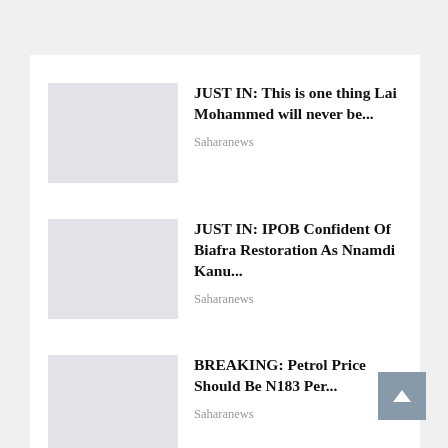JUST IN: This is one thing Lai Mohammed will never be...
Saharanews
JUST IN: IPOB Confident Of Biafra Restoration As Nnamdi Kanu...
Saharanews
BREAKING: Petrol Price Should Be N183 Per...
Saharanews